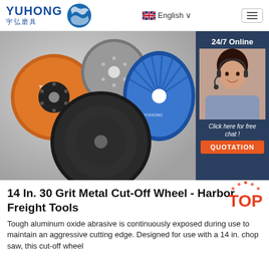[Figure (logo): Yuhong abrasives logo with blue wave icon and Chinese characters 宇弘磨具]
[Figure (photo): Product photo showing grinding/cut-off wheels: orange metal cut-off disc, gray disc, blue flap disc, and black surface conditioning disc. Right side shows 24/7 Online customer service chat widget with female headset operator photo, 'Click here for free chat!' text, and orange QUOTATION button.]
14 In. 30 Grit Metal Cut-Off Wheel - Harbor Freight Tools
Tough aluminum oxide abrasive is continuously exposed during use to maintain an aggressive cutting edge. Designed for use with a 14 in. chop saw, this cut-off wheel